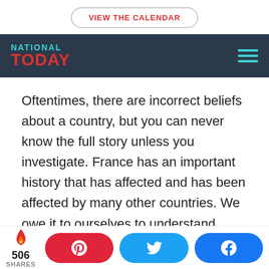VIEW THE CALENDAR
[Figure (logo): National Today logo with teal 'NATIONAL' text and red 'TODAY' text on dark navy background, with hamburger menu icon in teal]
Oftentimes, there are incorrect beliefs about a country, but you can never know the full story unless you investigate. France has an important history that has affected and has been affected by many other countries. We owe it to ourselves to understand these truths so that collectively we have a broader and more
506 SHARES — Pinterest, Twitter, Facebook share buttons